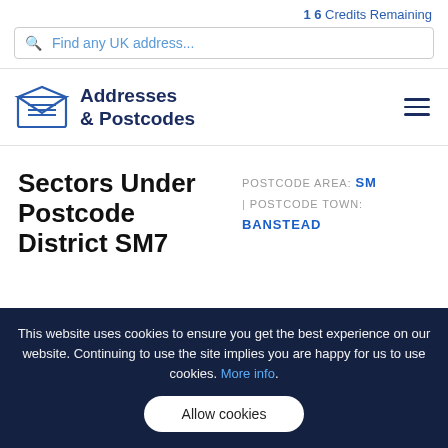16 Credits Remaining
Find any UK address...
[Figure (logo): Addresses & Postcodes logo with envelope icon]
Sectors Under Postcode District SM7
POSTCODE AREA: SM | POSTCODE TOWN: BANSTEAD
This website uses cookies to ensure you get the best experience on our website. Continuing to use the site implies you are happy for us to use cookies. More info.
Allow cookies